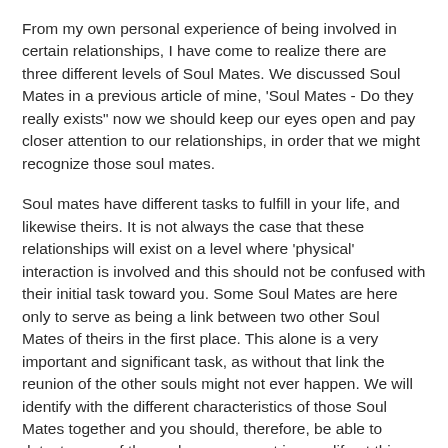From my own personal experience of being involved in certain relationships, I have come to realize there are three different levels of Soul Mates. We discussed Soul Mates in a previous article of mine, 'Soul Mates - Do they really exists" now we should keep our eyes open and pay closer attention to our relationships, in order that we might recognize those soul mates.
Soul mates have different tasks to fulfill in your life, and likewise theirs. It is not always the case that these relationships will exist on a level where 'physical' interaction is involved and this should not be confused with their initial task toward you. Some Soul Mates are here only to serve as being a link between two other Soul Mates of theirs in the first place. This alone is a very important and significant task, as without that link the reunion of the other souls might not ever happen. We will identify with the different characteristics of those Soul Mates together and you should, therefore, be able to detect some of them who are present in your life at this time.